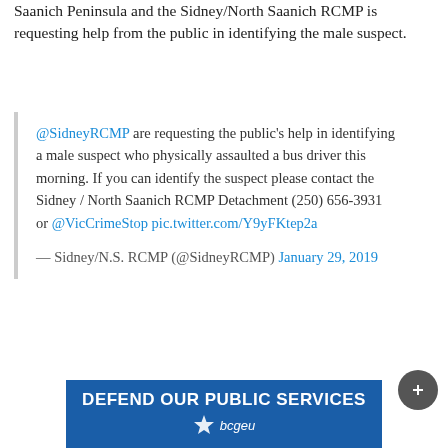Saanich Peninsula and the Sidney/North Saanich RCMP is requesting help from the public in identifying the male suspect.
@SidneyRCMP are requesting the public's help in identifying a male suspect who physically assaulted a bus driver this morning. If you can identify the suspect please contact the Sidney / North Saanich RCMP Detachment (250) 656-3931 or @VicCrimeStop pic.twitter.com/Y9yFKtep2a
— Sidney/N.S. RCMP (@SidneyRCMP) January 29, 2019
[Figure (other): BCGEU banner advertisement reading DEFEND OUR PUBLIC SERVICES with bcgeu star logo]